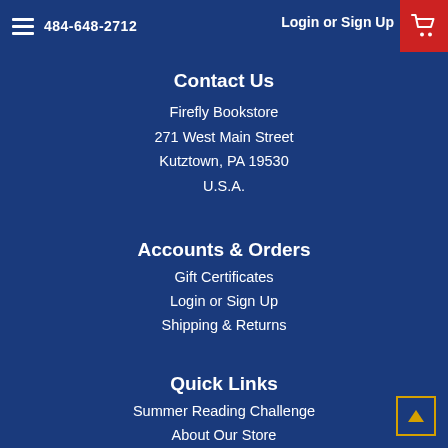484-648-2712   Login or Sign Up
Contact Us
Firefly Bookstore
271 West Main Street
Kutztown, PA 19530
U.S.A.
Accounts & Orders
Gift Certificates
Login or Sign Up
Shipping & Returns
Quick Links
Summer Reading Challenge
About Our Store
Event Calendar
Shipping and Delivery
Download Audio Books